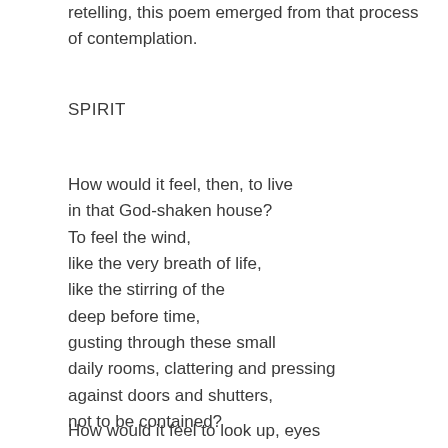retelling, this poem emerged from that process of contemplation.
SPIRIT
How would it feel, then, to live
in that God-shaken house?
To feel the wind,
like the very breath of life,
like the stirring of the
deep before time,
gusting through these small
daily rooms, clattering and pressing
against doors and shutters,
not to be contained?
How would it feel to look up, eyes